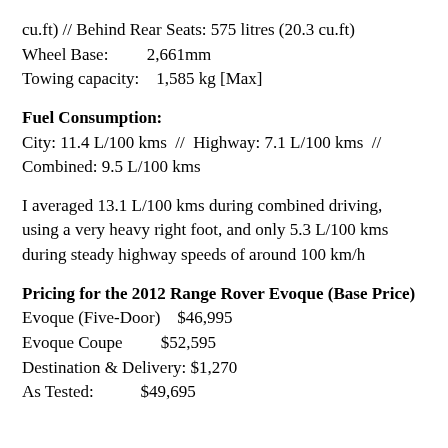cu.ft)  //  Behind Rear Seats: 575 litres (20.3 cu.ft)
Wheel Base:        2,661mm
Towing capacity:   1,585 kg [Max]
Fuel Consumption:
City: 11.4 L/100 kms  //  Highway: 7.1 L/100 kms  //  Combined: 9.5 L/100 kms
I averaged 13.1 L/100 kms during combined driving, using a very heavy right foot, and only 5.3 L/100 kms during steady highway speeds of around 100 km/h
Pricing for the 2012 Range Rover Evoque (Base Price)
Evoque (Five-Door)   $46,995
Evoque Coupe         $52,595
Destination & Delivery: $1,270
As Tested:           $49,695